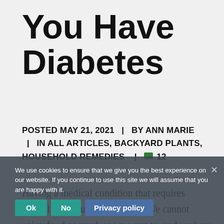You Have Diabetes
POSTED MAY 21, 2021 | BY ANN MARIE | IN ALL ARTICLES, BACKYARD PLANTS, HOUSEHOLD REMEDIES | 💬 12
Having a medical condition that requires special diets frustrates us a lot. We cannot enjoy food as much as we want to, and we have to limit ourselves to foods that we do not even like. It's exasperating and annoying, especially for many conditions where eating the wrong kinds of food
We use cookies to ensure that we give you the best experience on our website. If you continue to use this site we will assume that you are happy with it.